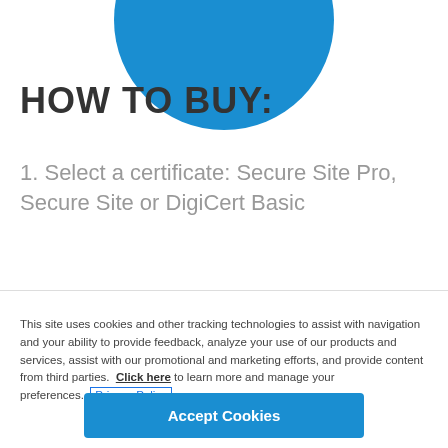[Figure (illustration): Blue circle partially visible at top of page]
HOW TO BUY:
1. Select a certificate: Secure Site Pro, Secure Site or DigiCert Basic
This site uses cookies and other tracking technologies to assist with navigation and your ability to provide feedback, analyze your use of our products and services, assist with our promotional and marketing efforts, and provide content from third parties.  Click here to learn more and manage your preferences.  Privacy Policy
Accept Cookies